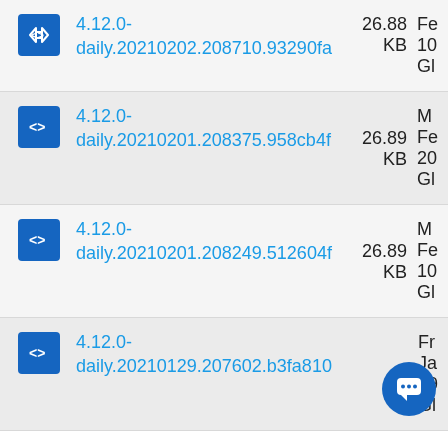4.12.0-daily.20210202.208710.93290fa  26.88 KB  Fe 10 Gl
4.12.0-daily.20210201.208375.958cb4f  26.89 KB  M Fe 20 Gl
4.12.0-daily.20210201.208249.512604f  26.89 KB  M Fe 10 Gl
4.12.0-daily.20210129.207602.b3fa810  Ja 19 Gl